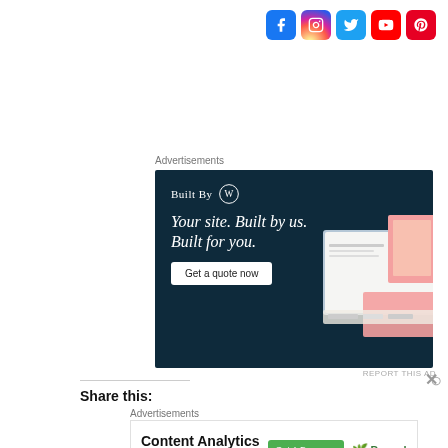[Figure (other): Social media icon bar with Facebook, Instagram, Twitter, YouTube, and Pinterest icons in the top right]
Advertisements
[Figure (other): WordPress 'Built By' advertisement with dark navy background. Shows WordPress logo, headline 'Your site. Built by us. Built for you.' with a 'Get a quote now' button and website mockup images on the right side.]
REPORT THIS AD
Share this:
Advertisements
[Figure (other): Parse.ly advertisement: 'Content Analytics Made Easy' with a green 'Get A Demo →' button and Parse.ly logo]
REPORT THIS AD